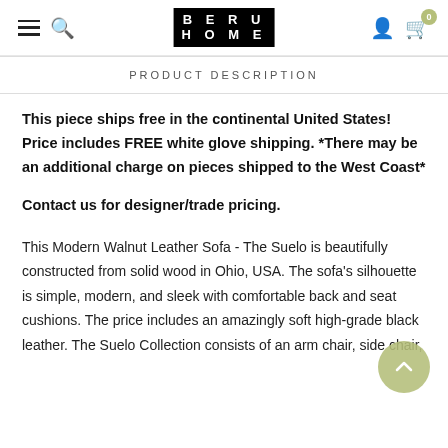Beru Home — navigation header with hamburger menu, search icon, logo, user icon, and cart (0)
PRODUCT DESCRIPTION
This piece ships free in the continental United States! Price includes FREE white glove shipping. *There may be an additional charge on pieces shipped to the West Coast*
Contact us for designer/trade pricing.
This Modern Walnut Leather Sofa - The Suelo is beautifully constructed from solid wood in Ohio, USA. The sofa's silhouette is simple, modern, and sleek with comfortable back and seat cushions. The price includes an amazingly soft high-grade black leather. The Suelo Collection consists of an arm chair, side chair,